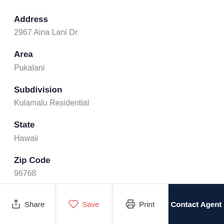Address
2967 Aina Lani Dr
Area
Pukalani
Subdivision
Kulamalu Residential
State
Hawaii
Zip Code
96768
Share  Save  Print  Contact Agent